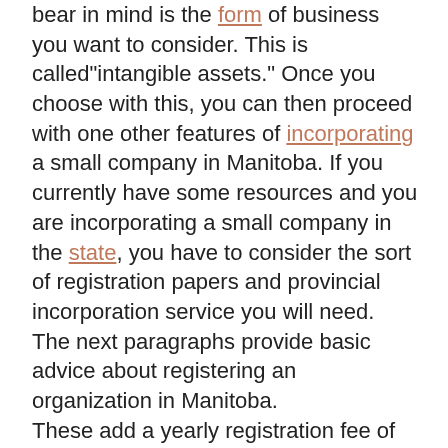bear in mind is the form of business you want to consider. This is called"intangible assets." Once you choose with this, you can then proceed with one other features of incorporating a small company in Manitoba. If you currently have some resources and you are incorporating a small company in the state, you have to consider the sort of registration papers and provincial incorporation service you will need. The next paragraphs provide basic advice about registering an organization in Manitoba. These add a yearly registration fee of 100 or a annual registration fee and tax, if you're incorporating as a organization. The yearly fee is included in the Articles of Incorporation and will be evaluated with the incorporating authorities of their province. If you're including as a corporation subsequently the corporation fee will be paid directly to the provincial division of the